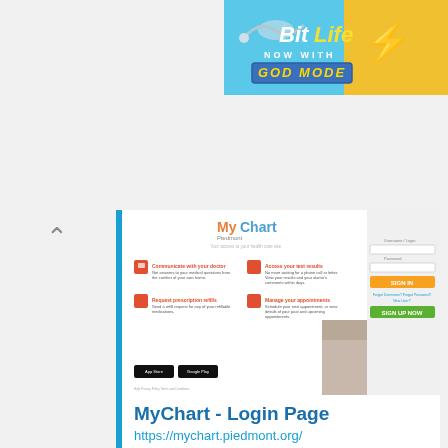[Figure (screenshot): BitLife mobile game advertisement banner with 'NOW WITH GOD MODE' text on blue/yellow background]
[Figure (screenshot): Screenshot of MyChart Piedmont login page showing features: Communicate with your doctor, Access your test results, Request prescription refills, Manage your appointments; with login panel and app store buttons]
MyChart - Login Page
https://mychart.piedmont.org/
Communicate with your doctor. Get answers to your medical questions from the comfort of your own home. Access your test results. No more waiting for a phone ...